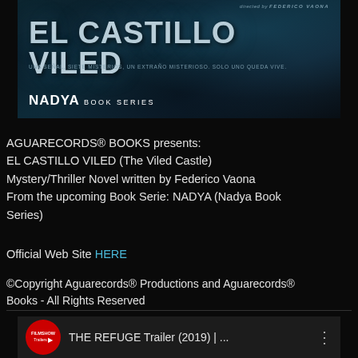[Figure (illustration): Book cover for EL CASTILLO VILED - dark atmospheric image with castle silhouette, lightning, and stormy sky. Text reads EL CASTILLO VILED in large letters, with tagline and NADYA BOOK SERIES at bottom.]
AGUARECORDS® BOOKS presents:
EL CASTILLO VILED (The Viled Castle)
Mystery/Thriller Novel written by Federico Vaona
From the upcoming Book Serie: NADYA (Nadya Book Series)
Official Web Site HERE
©Copyright Aguarecords® Productions and Aguarecords® Books - All Rights Reserved
[Figure (screenshot): YouTube video thumbnail showing THE REFUGE Trailer (2019) | ... with FilmsHow Trailers logo (red circle) on left and three-dot menu on right.]